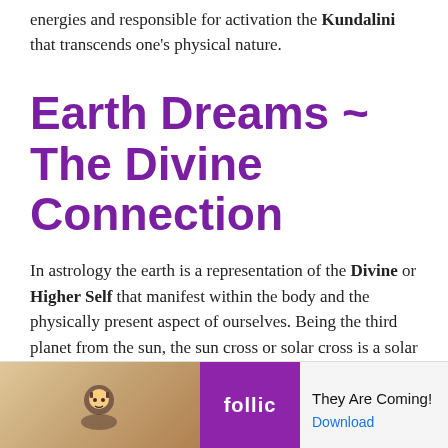energies and responsible for activation the Kundalini that transcends one's physical nature.
Earth Dreams ~ The Divine Connection
In astrology the earth is a representation of the Divine or Higher Self that manifest within the body and the physically present aspect of ourselves. Being the third planet from the sun, the sun cross or solar cross is a solar symbol consisting of an equilateral CROSS inside a circle. An emblem that can be traced back to prehistoric cultures, particularly around the Neolithic prehistoric pre...
[Figure (screenshot): Ad overlay at the bottom of the page showing a Follic game ad with text 'They Are Coming!' and a Download button.]